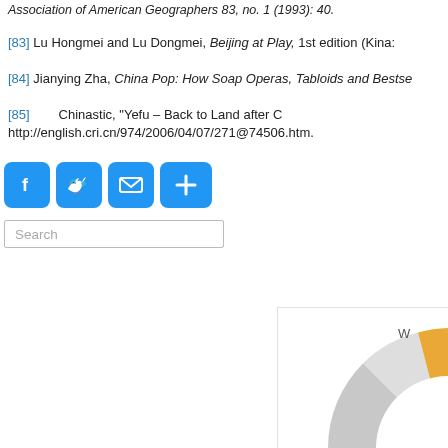Association of American Geographers 83, no. 1 (1993): 40.
[83] Lu Hongmei and Lu Dongmei, Beijing at Play, 1st edition (Kina:…
[84] Jianying Zha, China Pop: How Soap Operas, Tabloids and Bestse…
[85] Chinastic, "Yefu – Back to Land after C… http://english.cri.cn/974/2006/04/07/271@74506.htm.
[Figure (infographic): Social share buttons: Facebook, Twitter, Email, Share (plus sign)]
[Figure (other): Search bar input field with placeholder text 'Search']
[Figure (donut-chart): Partial donut chart visible in bottom right corner, with gray and orange segments]